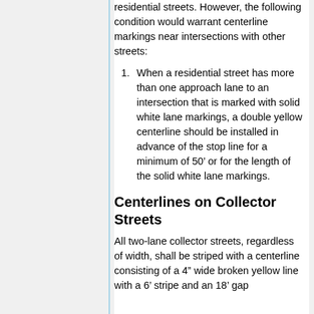residential streets. However, the following condition would warrant centerline markings near intersections with other streets:
When a residential street has more than one approach lane to an intersection that is marked with solid white lane markings, a double yellow centerline should be installed in advance of the stop line for a minimum of 50’ or for the length of the solid white lane markings.
Centerlines on Collector Streets
All two-lane collector streets, regardless of width, shall be striped with a centerline consisting of a 4” wide broken yellow line with a 6’ stripe and an 18’ gap